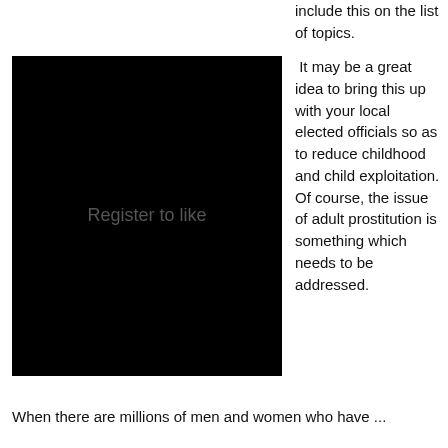include this on the list of topics.
[Figure (photo): Black image with watermark text 'Register to like']
It may be a great idea to bring this up with your local elected officials so as to reduce childhood and child exploitation. Of course, the issue of adult prostitution is something which needs to be addressed.
When there are millions of men and ...